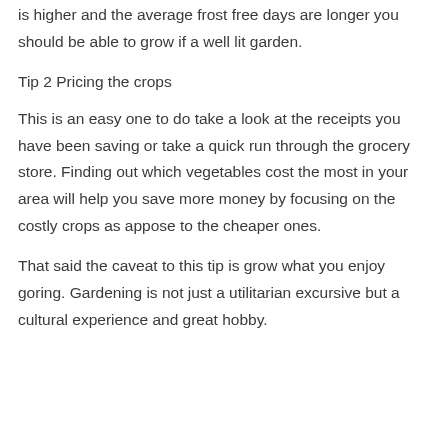is higher and the average frost free days are longer you should be able to grow if a well lit garden.
Tip 2 Pricing the crops
This is an easy one to do take a look at the receipts you have been saving or take a quick run through the grocery store. Finding out which vegetables cost the most in your area will help you save more money by focusing on the costly crops as appose to the cheaper ones.
That said the caveat to this tip is grow what you enjoy goring. Gardening is not just a utilitarian excursive but a cultural experience and great hobby.